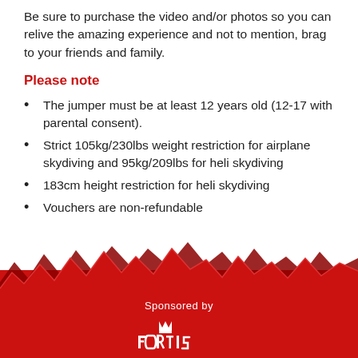Be sure to purchase the video and/or photos so you can relive the amazing experience and not to mention, brag to your friends and family.
Please note
The jumper must be at least 12 years old (12-17 with parental consent).
Strict 105kg/230lbs weight restriction for airplane skydiving and 95kg/209lbs for heli skydiving
183cm height restriction for heli skydiving
Vouchers are non-refundable
[Figure (illustration): Red mountain silhouette footer graphic with jagged peaks]
Sponsored by
[Figure (logo): FORTIS logo in white on red background]